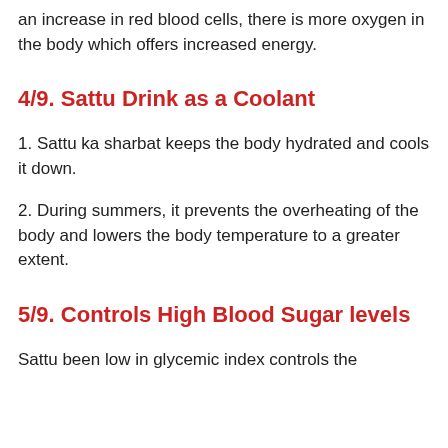an increase in red blood cells, there is more oxygen in the body which offers increased energy.
4/9. Sattu Drink as a Coolant
1. Sattu ka sharbat keeps the body hydrated and cools it down.
2. During summers, it prevents the overheating of the body and lowers the body temperature to a greater extent.
5/9. Controls High Blood Sugar levels
Sattu been low in glycemic index controls the